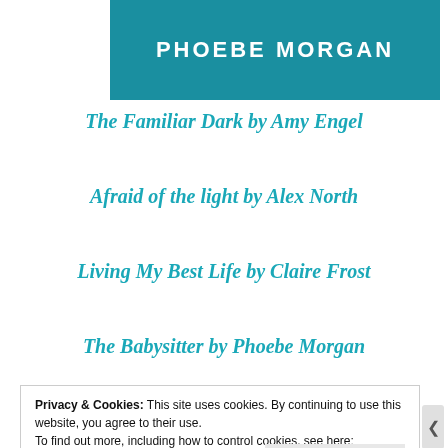[Figure (photo): Book cover image with white text 'PHOEBE MORGAN' on a teal/dark background]
The Familiar Dark by Amy Engel
Afraid of the light by Alex North
Living My Best Life by Claire Frost
The Babysitter by Phoebe Morgan
Privacy & Cookies: This site uses cookies. By continuing to use this website, you agree to their use.
To find out more, including how to control cookies, see here: Cookie Policy
Close and accept